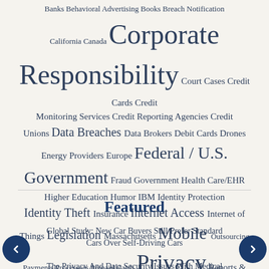[Figure (other): Tag cloud of privacy and data security topics including Banks, Behavioral Advertising, Books, Breach Notification, California, Canada, Corporate Responsibility, Court Cases, Credit Cards, Credit Monitoring Services, Credit Reporting Agencies, Credit Unions, Data Breaches, Data Brokers, Debit Cards, Drones, Energy Providers, Europe, Federal/U.S. Government, Fraud, Government Health Care/EHR, Higher Education, Humor, IBM, Identity Protection, Identity Theft, Insurance, Internet Access, Internet of Things, Legislation, Massachusetts, Mobile, Outsourcing, Payments, Processors, Prepaid Cards, Privacy, Reports & Studies, Retail, Scams & Threats, Social Networking, Statistics, Surveillance, Surveys, Teens/Youth, Travel, Wage Abuse]
Featured
Global Study: New Car Buyers Still Prefer Standard Cars Over Self-Driving Cars
The Privacy And Data Security Issues With Medical Marijuana